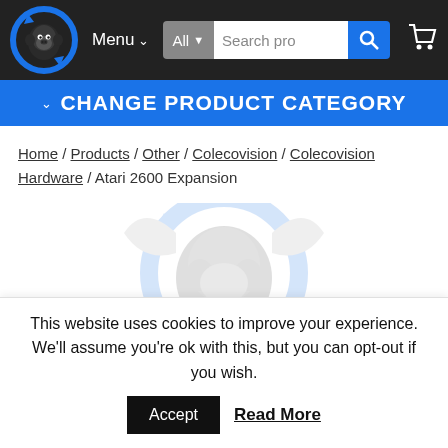Menu  All  Search pro
CHANGE PRODUCT CATEGORY
Home / Products / Other / Colecovision / Colecovision Hardware / Atari 2600 Expansion
[Figure (logo): Watermark logo of a gorilla head with blue circular arrows in the background]
This website uses cookies to improve your experience. We'll assume you're ok with this, but you can opt-out if you wish. Accept  Read More